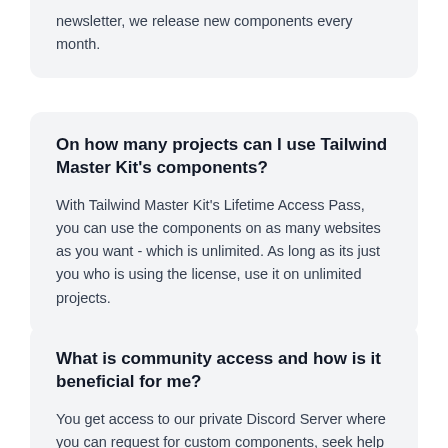newsletter, we release new components every month.
On how many projects can I use Tailwind Master Kit's components?
With Tailwind Master Kit's Lifetime Access Pass, you can use the components on as many websites as you want - which is unlimited. As long as its just you who is using the license, use it on unlimited projects.
What is community access and how is it beneficial for me?
You get access to our private Discord Server where you can request for custom components, seek help from the